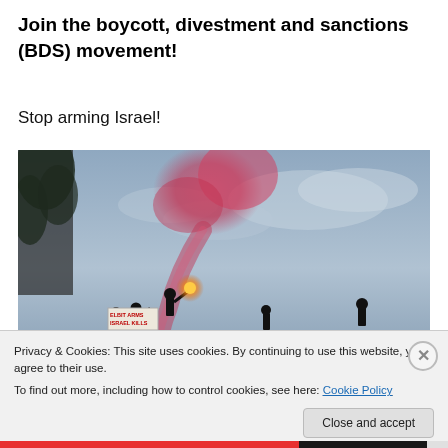Join the boycott, divestment and sanctions (BDS) movement!
Stop arming Israel!
[Figure (photo): Protest photo showing people on a rooftop with a red smoke flare; a large banner reads 'UK: STOP ARMING ISRAEL' and a smaller sign reads 'ELBIT ARMS ISRAEL KILLS'.]
Privacy & Cookies: This site uses cookies. By continuing to use this website, you agree to their use.
To find out more, including how to control cookies, see here: Cookie Policy
Close and accept